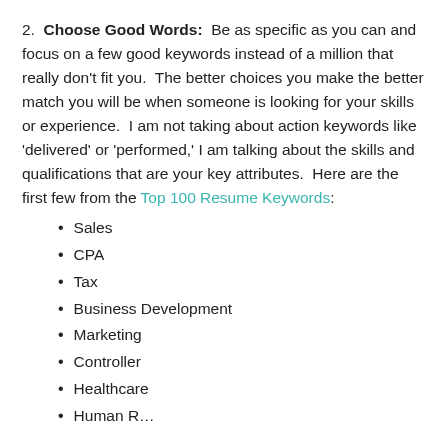2. Choose Good Words: Be as specific as you can and focus on a few good keywords instead of a million that really don't fit you. The better choices you make the better match you will be when someone is looking for your skills or experience. I am not taking about action keywords like 'delivered' or 'performed,' I am talking about the skills and qualifications that are your key attributes. Here are the first few from the Top 100 Resume Keywords:
Sales
CPA
Tax
Business Development
Marketing
Controller
Healthcare
Human R…